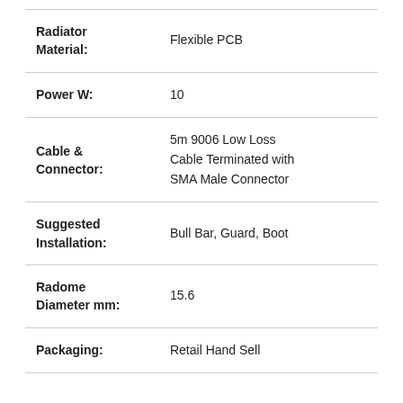| Property | Value |
| --- | --- |
| Radiator Material: | Flexible PCB |
| Power W: | 10 |
| Cable & Connector: | 5m 9006 Low Loss Cable Terminated with SMA Male Connector |
| Suggested Installation: | Bull Bar, Guard, Boot |
| Radome Diameter mm: | 15.6 |
| Packaging: | Retail Hand Sell |